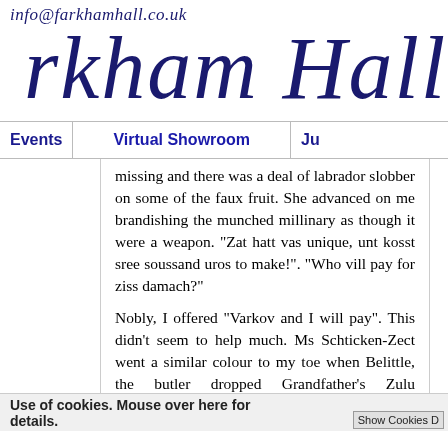info@farkhamhall.co.uk
rkham Hall
Events | Virtual Showroom | Ju
missing and there was a deal of labrador slobber on some of the faux fruit. She advanced on me brandishing the munched millinary as though it were a weapon. "Zat hatt vas unique, unt kosst sree soussand uros to make!". "Who vill pay for ziss damach?"
Nobly, I offered "Varkov and I will pay". This didn't seem to help much. Ms Schticken-Zect went a similar colour to my toe when Belittle, the butler dropped Grandfather's Zulu Knobkerry on it from the height of our tallest bookshelf. "You
Use of cookies. Mouse over here for details.